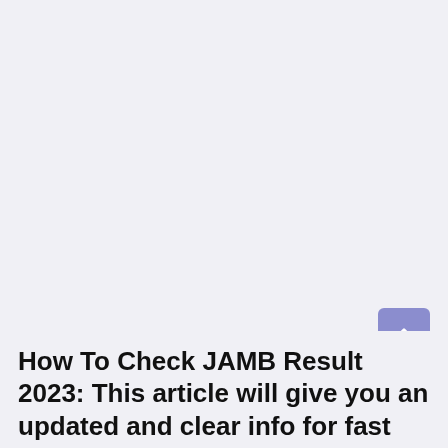[Figure (other): Large blank/empty whitespace area at top of page with light gray background]
[Figure (other): Scroll-to-top button with upward chevron arrow, purple/periwinkle background, rounded square shape, positioned bottom-right]
How To Check JAMB Result 2023: This article will give you an updated and clear info for fast...